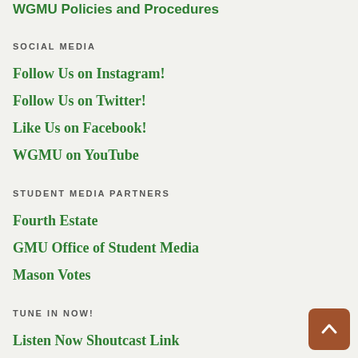WGMU Policies and Procedures
SOCIAL MEDIA
Follow Us on Instagram!
Follow Us on Twitter!
Like Us on Facebook!
WGMU on YouTube
STUDENT MEDIA PARTNERS
Fourth Estate
GMU Office of Student Media
Mason Votes
TUNE IN NOW!
Listen Now Shoutcast Link